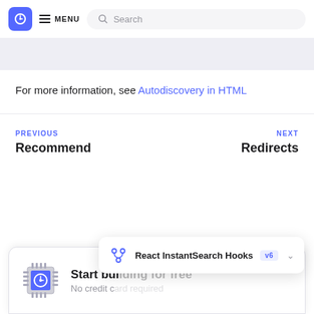MENU | Search
For more information, see Autodiscovery in HTML
PREVIOUS
Recommend
NEXT
Redirects
[Figure (screenshot): Bottom card with chip icon showing 'Start building for free' and 'No credit c...' text, with a tooltip showing 'React InstantSearch Hooks v6' dropdown]